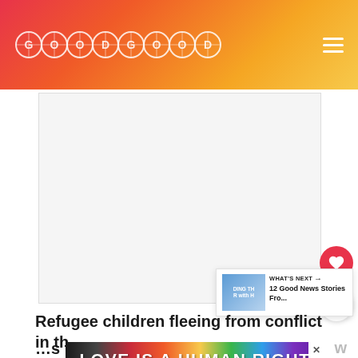GOODGOODGOOD
[Figure (photo): Large blank/white image placeholder area for article photo]
[Figure (screenshot): What's Next panel showing thumbnail and text: 12 Good News Stories Fro...]
Refugee children fleeing from conflict in th... ...s to e...
[Figure (infographic): Advertisement banner: LOVE IS A HUMAN RIGHT with LOVE COMPASSION CHARITY BELONGING in color text]